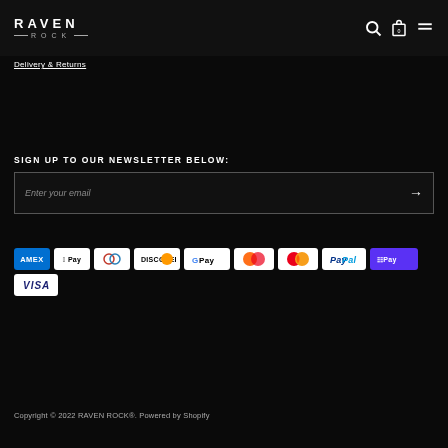RAVEN ROCK
Delivery & Returns
SIGN UP TO OUR NEWSLETTER BELOW:
Enter your email
[Figure (other): Payment method icons: American Express, Apple Pay, Diners Club, Discover, Google Pay, Maestro, Mastercard, PayPal, Shop Pay, Visa]
Copyright © 2022 RAVEN ROCK®. Powered by Shopify